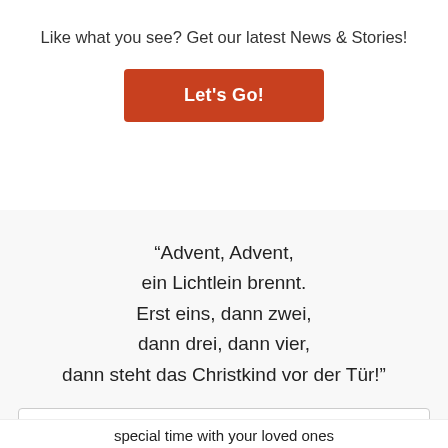Like what you see? Get our latest News & Stories!
Let's Go!
"Advent, Advent, ein Lichtlein brennt. Erst eins, dann zwei, dann drei, dann vier, dann steht das Christkind vor der Tür!"
Privacy & Cookies: This site uses cookies. By continuing to use this website, you agree to their use. To find out more, including how to control cookies, see here: Privacy Poli...
Chat with CaliforniaGermans
Guten Tag! Hello! Let us know if you have any...
special time with your loved ones